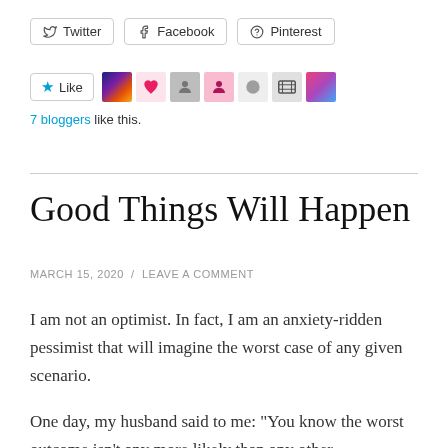[Figure (other): Social sharing buttons for Twitter, Facebook, and Pinterest]
[Figure (other): Like button with star icon and 7 blogger avatar thumbnails]
7 bloggers like this.
Good Things Will Happen
MARCH 15, 2020 / LEAVE A COMMENT
I am not an optimist. In fact, I am an anxiety-ridden pessimist that will imagine the worst case of any given scenario.
One day, my husband said to me: “You know the worst outcome isn’t any more likely than any other